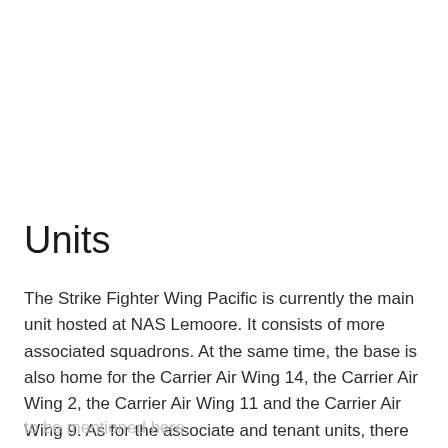Units
The Strike Fighter Wing Pacific is currently the main unit hosted at NAS Lemoore. It consists of more associated squadrons. At the same time, the base is also home for the Carrier Air Wing 14, the Carrier Air Wing 2, the Carrier Air Wing 11 and the Carrier Air Wing 9. As for the associate and tenant units, there are just way too many to be mentioned here.